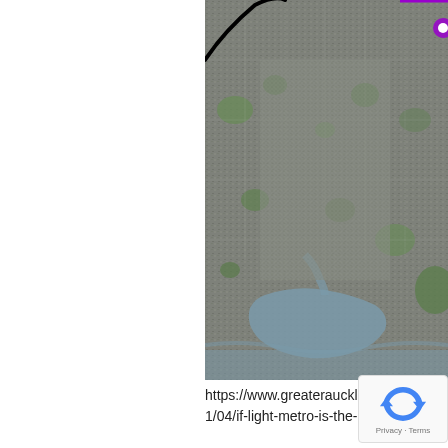[Figure (map): Aerial satellite map view of Auckland, New Zealand showing urban suburban areas, green spaces, and a harbor/inlet visible in the lower portion. A black curved line overlay and a purple line overlay are visible at the top of the map indicating routes or boundaries.]
https://www.greaterauckland.org.nz/2019/11/04/if-light-metro-is-the-answer/